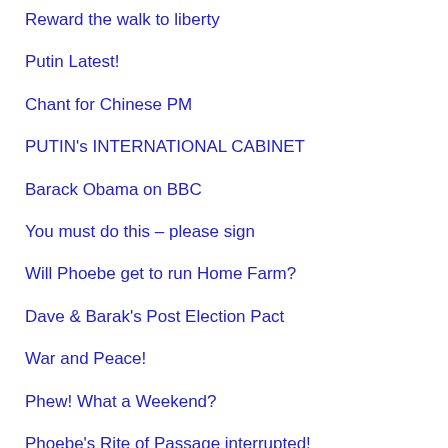Reward the walk to liberty
Putin Latest!
Chant for Chinese PM
PUTIN's INTERNATIONAL CABINET
Barack Obama on BBC
You must do this – please sign
Will Phoebe get to run Home Farm?
Dave & Barak's Post Election Pact
War and Peace!
Phew! What a Weekend?
Phoebe's Rite of Passage interrupted!
Heather Watson Rules – OK!
Solar Impulse 2 – landing in Hawaii today
Solar Powered Grease